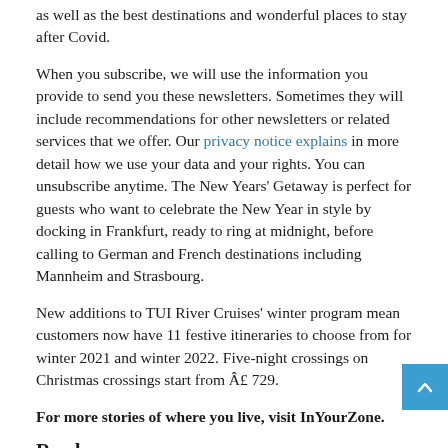as well as the best destinations and wonderful places to stay after Covid.
When you subscribe, we will use the information you provide to send you these newsletters. Sometimes they will include recommendations for other newsletters or related services that we offer. Our privacy notice explains in more detail how we use your data and your rights. You can unsubscribe anytime. The New Years' Getaway is perfect for guests who want to celebrate the New Year in style by docking in Frankfurt, ready to ring at midnight, before calling to German and French destinations including Mannheim and Strasbourg.
New additions to TUI River Cruises' winter program mean customers now have 11 festive itineraries to choose from for winter 2021 and winter 2022. Five-night crossings on Christmas crossings start from Â£ 729.
For more stories of where you live, visit InYourZone.
Read more